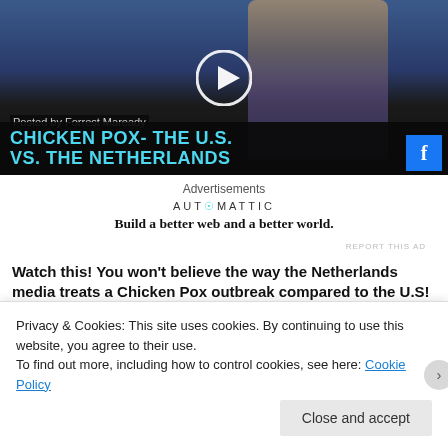[Figure (screenshot): Video thumbnail showing a news presenter in a suit with pink tie, with text overlay 'CHICKEN POX- THE U.S. VS. THE NETHERLANDS' in cyan on dark background, with a play button circle in the center and a Facebook icon in the lower right. Shows 'Posted by Forrest Maready' text.]
Advertisements
[Figure (logo): AUTOMATTIC logo with cyan dot, tagline: Build a better web and a better world.]
REPORT THIS AD
Watch this! You won't believe the way the Netherlands media treats a Chicken Pox outbreak compared to the U.S!
Shares work better than likes!
Privacy & Cookies: This site uses cookies. By continuing to use this website, you agree to their use.
To find out more, including how to control cookies, see here: Cookie Policy
Close and accept